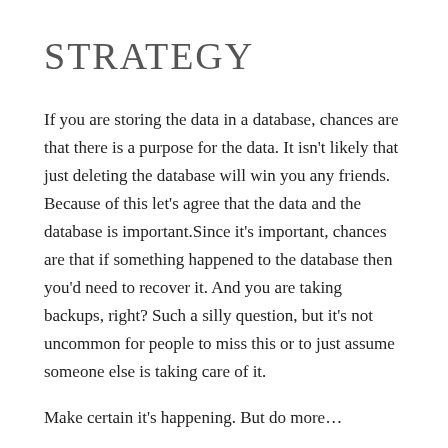STRATEGY
If you are storing the data in a database, chances are that there is a purpose for the data. It isn't likely that just deleting the database will win you any friends. Because of this let's agree that the data and the database is important.Since it's important, chances are that if something happened to the database then you'd need to recover it. And you are taking backups, right? Such a silly question, but it's not uncommon for people to miss this or to just assume someone else is taking care of it.
Make certain it's happening. But do more…
Backing up a database is only an act of copying the data from point A to point B. The reason this is done is so that you can copy the data back from point B to…